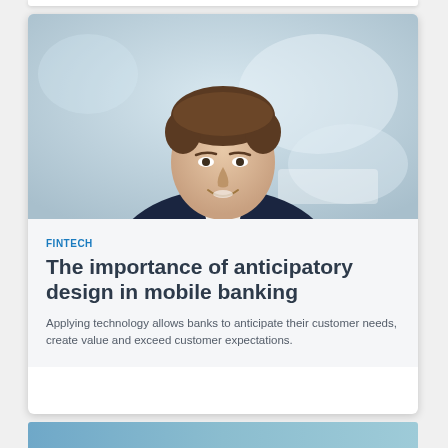[Figure (photo): Professional headshot of a smiling middle-aged man in a dark suit with an open-collar white shirt, against a blurred modern office background with blue-grey tones.]
FINTECH
The importance of anticipatory design in mobile banking
Applying technology allows banks to anticipate their customer needs, create value and exceed customer expectations.